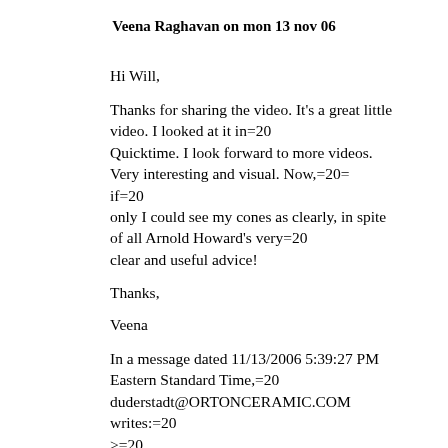Veena Raghavan on mon 13 nov 06
Hi Will,
Thanks for sharing the video. It's a great little video. I looked at it in=20
Quicktime. I look forward to more videos. Very interesting and visual. Now,=20=
if=20
only I could see my cones as clearly, in spite of all Arnold Howard's very=20
clear and useful advice!
Thanks,
Veena
In a message dated 11/13/2006 5:39:27 PM Eastern Standard Time,=20
duderstadt@ORTONCERAMIC.COM writes:=20
>=20
> As of today, I have added a "Videos" section